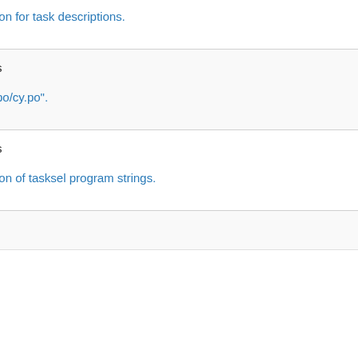ion for task descriptions.
19 years ago
s
po/cy.po".
19 years ago
s
ion of tasksel program strings.
19 years ago